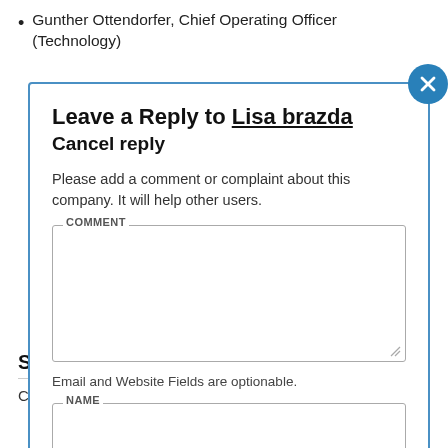Gunther Ottendorfer, Chief Operating Officer (Technology)
Leave a Reply to Lisa brazda Cancel reply
Please add a comment or complaint about this company. It will help other users.
Email and Website Fields are optionable.
Sprint Careers and Jobs.
Careers information can be found here. This page